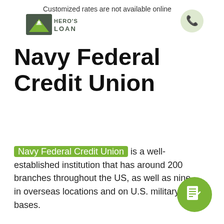Customized rates are not available online
[Figure (logo): Hero's Loan logo with mountain/star graphic and text HERO'S LOAN]
[Figure (other): Phone/contact icon circle]
Navy Federal Credit Union
Navy Federal Credit Union is a well-established institution that has around 200 branches throughout the US, as well as nine in overseas locations and on U.S. military bases.
[Figure (other): Green circle edit/apply icon button]